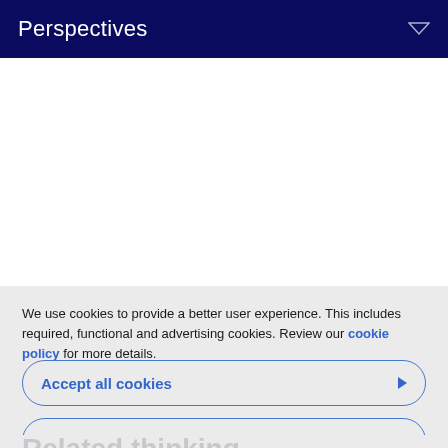Perspectives
We use cookies to provide a better user experience. This includes required, functional and advertising cookies. Review our cookie policy for more details.
Accept all cookies
Customized settings
Related thinking